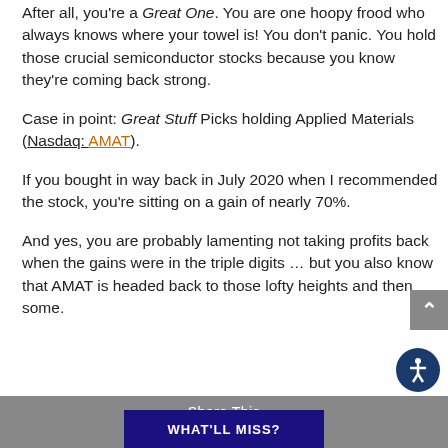After all, you're a Great One. You are one hoopy frood who always knows where your towel is! You don't panic. You hold those crucial semiconductor stocks because you know they're coming back strong.
Case in point: Great Stuff Picks holding Applied Materials (Nasdaq: AMAT).
If you bought in way back in July 2020 when I recommended the stock, you're sitting on a gain of nearly 70%.
And yes, you are probably lamenting not taking profits back when the gains were in the triple digits … but you also know that AMAT is headed back to those lofty heights and then some.
Share This